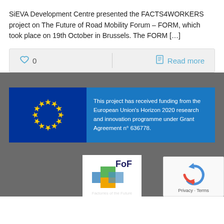SiEVA Development Centre presented the FACTS4WORKERS project on The Future of Road Mobility Forum – FORM, which took place on 19th October in Brussels. The FORM […]
[Figure (other): Action bar with heart/like icon showing 0 likes and a Read more link with document icon, on light gray background]
[Figure (infographic): EU Horizon 2020 funding banner with EU flag on blue background and text: This project has received funding from the European Union's Horizon 2020 research and innovation programme under Grant Agreement n° 636778.]
[Figure (logo): Factories of the Future (FoF) logo with colorful overlapping squares and FoF text]
Factories of the Future
[Figure (other): reCAPTCHA widget with circular arrows icon and Privacy - Terms text]